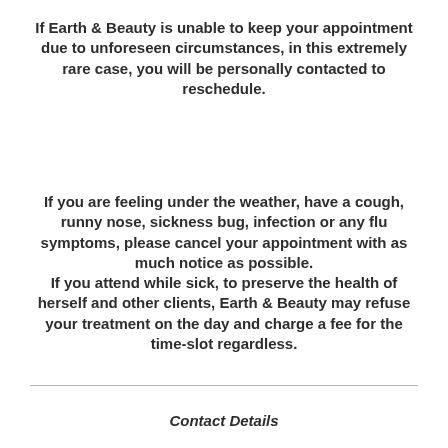If Earth & Beauty is unable to keep your appointment due to unforeseen circumstances, in this extremely rare case, you will be personally contacted to reschedule.
If you are feeling under the weather, have a cough, runny nose, sickness bug, infection or any flu symptoms, please cancel your appointment with as much notice as possible.
If you attend while sick, to preserve the health of herself and other clients, Earth & Beauty may refuse your treatment on the day and charge a fee for the time-slot regardless.
Contact Details